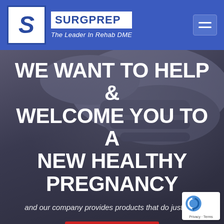[Figure (logo): SurgPrep logo with blue S in white box and brand name]
The Leader In Rehab DME
WE WANT TO HELP & WELCOME YOU TO A NEW HEALTHY PREGNANCY
and our company provides products that do just that.
Learn more